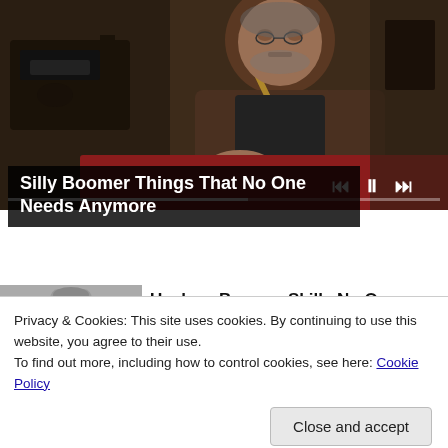[Figure (photo): Man in brown tweed jacket with tape measure around neck, seated at sewing machine, workshop setting]
Silly Boomer Things That No One Needs Anymore
[Figure (photo): Black and white photo of a woman]
Useless Boomer Skills No One Needs Anymore
Privacy & Cookies: This site uses cookies. By continuing to use this website, you agree to their use.
To find out more, including how to control cookies, see here: Cookie Policy
Close and accept
[Figure (photo): Older person photo thumbnail]
This Classic Logo Quiz